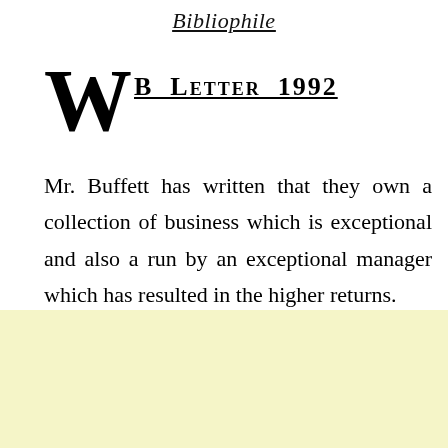Bibliophile
WB Letter 1992
Mr. Buffett has written that they own a collection of business which is exceptional and also a run by an exceptional manager which has resulted in the higher returns.